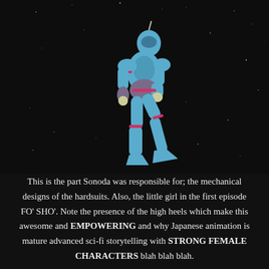[Figure (illustration): Animated blue humanoid robot/hardsuit character with pink accents and high heels, floating in a dark starry space background. The suit has a sleek sci-fi design with segmented limbs and the character is posed in a seated/floating position.]
This is the part Sonoda was responsible for; the mechanical designs of the hardsuits. Also, the little girl in the first episode FO' SHO'. Note the presence of the high heels which make this awesome and EMPOWERING and why Japanese animation is mature advanced sci-fi storytelling with STRONG FEMALE CHARACTERS blah blah blah.